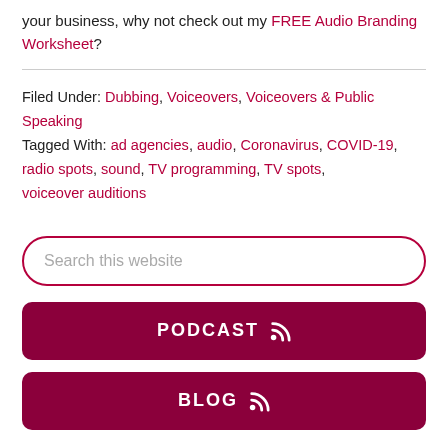your business, why not check out my FREE Audio Branding Worksheet?
Filed Under: Dubbing, Voiceovers, Voiceovers & Public Speaking
Tagged With: ad agencies, audio, Coronavirus, COVID-19, radio spots, sound, TV programming, TV spots, voiceover auditions
Search this website
PODCAST
BLOG